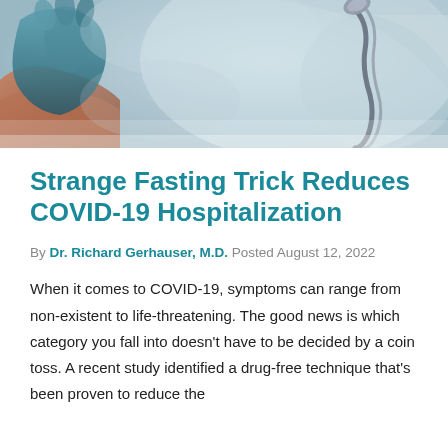[Figure (photo): Medical photo showing a healthcare worker in blue gloves and medical equipment including what appears to be a stethoscope or similar instrument, with a blurred clinical background.]
Strange Fasting Trick Reduces COVID-19 Hospitalization
By Dr. Richard Gerhauser, M.D. Posted August 12, 2022
When it comes to COVID-19, symptoms can range from non-existent to life-threatening. The good news is which category you fall into doesn't have to be decided by a coin toss. A recent study identified a drug-free technique that's been proven to reduce the